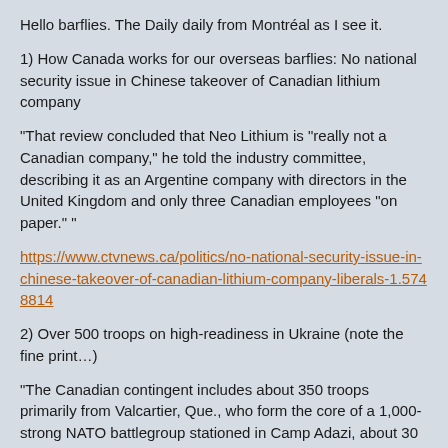Hello barflies. The Daily daily from Montréal as I see it.
1) How Canada works for our overseas barflies: No national security issue in Chinese takeover of Canadian lithium company
“That review concluded that Neo Lithium is "really not a Canadian company," he told the industry committee, describing it as an Argentine company with directors in the United Kingdom and only three Canadian employees "on paper." ”
https://www.ctvnews.ca/politics/no-national-security-issue-in-chinese-takeover-of-canadian-lithium-company-liberals-1.5748814
2) Over 500 troops on high-readiness in Ukraine (note the fine print…)
“The Canadian contingent includes about 350 troops primarily from Valcartier, Que., who form the core of a 1,000-strong NATO battlegroup stationed in Camp Adazi, about 30 kilometres northeast of the Latvian capital of Riga.”
https://globalnews.ca/news/8527217/canada-ukraine-nato-troops/
3) This Toronto Star piece (editorial) was worth the read.